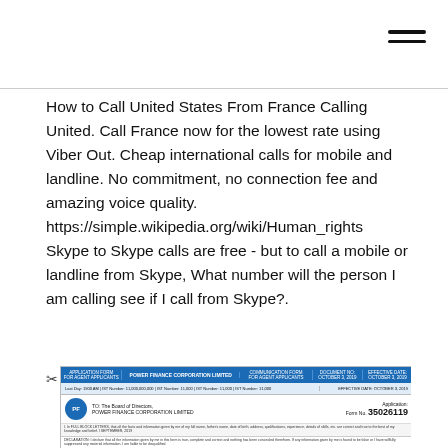How to Call United States From France Calling United. Call France now for the lowest rate using Viber Out. Cheap international calls for mobile and landline. No commitment, no connection fee and amazing voice quality. https://simple.wikipedia.org/wiki/Human_rights Skype to Skype calls are free - but to call a mobile or landline from Skype, What number will the person I am calling see if I call from Skype?.
[Figure (other): Partial image of a form document: APPLICATION FORM FOR AGENT APPLICANTS, POWER FINANCE CORPORATION LIMITED, with form number 35026119]